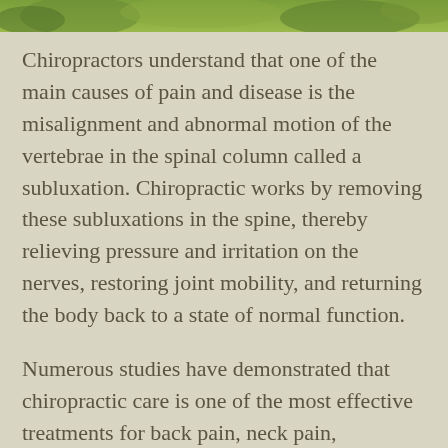[Figure (photo): Green nature/plant image strip at the top of the page]
Chiropractors understand that one of the main causes of pain and disease is the misalignment and abnormal motion of the vertebrae in the spinal column called a subluxation. Chiropractic works by removing these subluxations in the spine, thereby relieving pressure and irritation on the nerves, restoring joint mobility, and returning the body back to a state of normal function.
Numerous studies have demonstrated that chiropractic care is one of the most effective treatments for back pain, neck pain, headaches, whiplash, sports injuries and many other types of musculoskeletal problems. It can even help